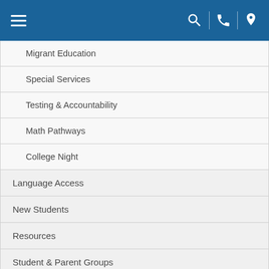Navigation menu header with hamburger icon, search, phone, and location icons
Migrant Education
Special Services
Testing & Accountability
Math Pathways
College Night
Language Access
New Students
Resources
Student & Parent Groups
Transportation
Williams Settlement
Title IX Information